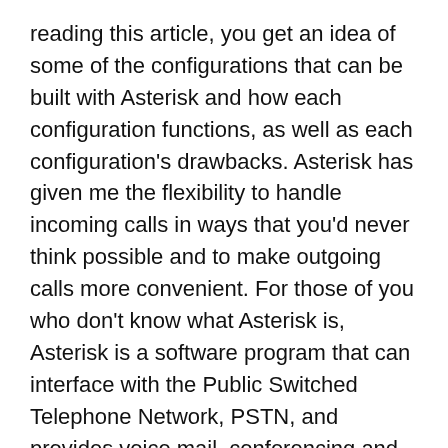reading this article, you get an idea of some of the configurations that can be built with Asterisk and how each configuration functions, as well as each configuration's drawbacks. Asterisk has given me the flexibility to handle incoming calls in ways that you'd never think possible and to make outgoing calls more convenient. For those of you who don't know what Asterisk is, Asterisk is a software program that can interface with the Public Switched Telephone Network, PSTN, and provides voice mail, conferencing and other sophisticated call-handling features, all under your control.
I first got started with Asterisk when I was searching the Web trying to learn what I could about VoIP. When I happened upon the Asterisk program, I couldn't believe it could be everything it was hyped up to be. Once I got it installed and configured, I